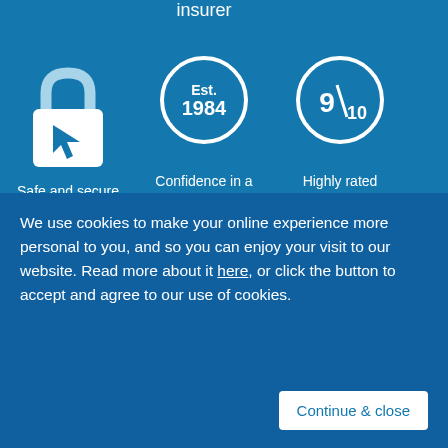insurer
[Figure (illustration): Lock icon with cursor arrow — Safe and secure online quotes]
Safe and secure online quotes
[Figure (illustration): Circle badge with Est. 1984 — Confidence in a trusted family business]
Confidence in a trusted family business
[Figure (illustration): Circle badge with 9/10 — Highly rated claims service]
Highly rated claims service
Live chat
We use cookies to make your online experience more personal to you, and so you can enjoy your visit to our website. Read more about it here, or click the button to accept and agree to our use of cookies.
Continue & close